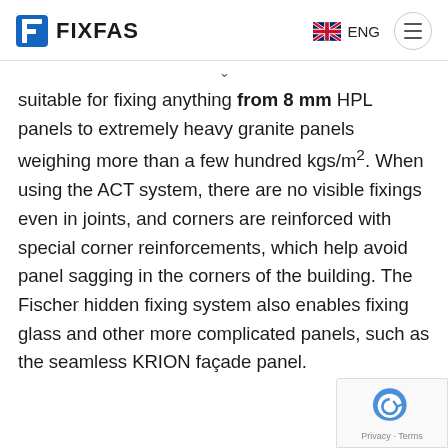FIXFAS | ENG
suitable for fixing anything from 8 mm HPL panels to extremely heavy granite panels weighing more than a few hundred kgs/m². When using the ACT system, there are no visible fixings even in joints, and corners are reinforced with special corner reinforcements, which help avoid panel sagging in the corners of the building. The Fischer hidden fixing system also enables fixing glass and other more complicated panels, such as the seamless KRION façade panel.